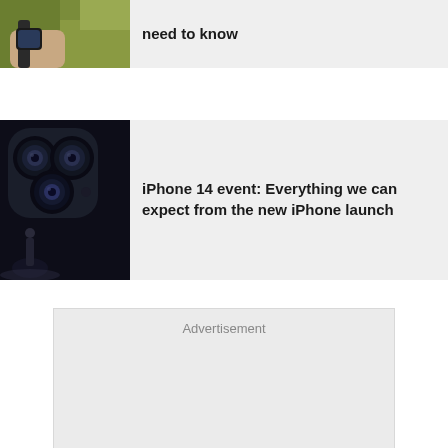[Figure (photo): Partial photo of a wrist wearing a smartwatch, with green foliage in background]
need to know
[Figure (photo): Dark close-up of iPhone triple camera system with a person on stage in background]
iPhone 14 event: Everything we can expect from the new iPhone launch
Advertisement